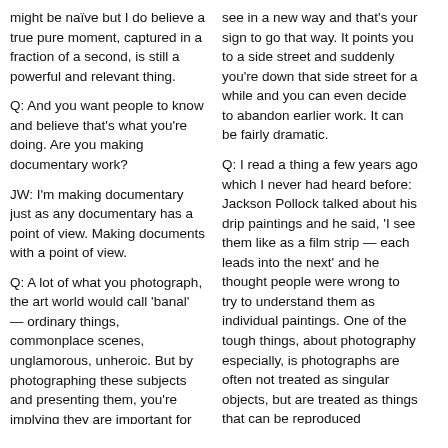might be naïve but I do believe a true pure moment, captured in a fraction of a second, is still a powerful and relevant thing.
Q: And you want people to know and believe that's what you're doing. Are you making documentary work?
JW: I'm making documentary just as any documentary has a point of view. Making documents with a point of view.
Q: A lot of what you photograph, the art world would call 'banal' — ordinary things, commonplace scenes, unglamorous, unheroic. But by photographing these subjects and presenting them, you're implying they are important for us to look at. What are you finding special here?
JW: Well, I think when you take a photograph, by the very nature of
see in a new way and that's your sign to go that way. It points you to a side street and suddenly you're down that side street for a while and you can even decide to abandon earlier work. It can be fairly dramatic.
Q: I read a thing a few years ago which I never had heard before: Jackson Pollock talked about his drip paintings and he said, 'I see them like as a film strip — each leads into the next' and he thought people were wrong to try to understand them as individual paintings. One of the tough things, about photography especially, is photographs are often not treated as singular objects, but are treated as things that can be reproduced endlessly and presented in endless formats. As opposed to say, the thinking of someone like Pollock or Judd, who was very specific about the relation of this sculpture next to